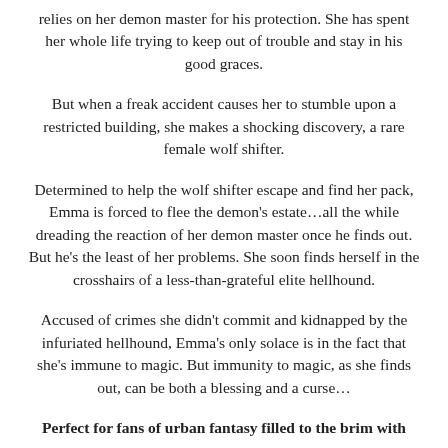relies on her demon master for his protection. She has spent her whole life trying to keep out of trouble and stay in his good graces.
But when a freak accident causes her to stumble upon a restricted building, she makes a shocking discovery, a rare female wolf shifter.
Determined to help the wolf shifter escape and find her pack, Emma is forced to flee the demon's estate…all the while dreading the reaction of her demon master once he finds out. But he's the least of her problems. She soon finds herself in the crosshairs of a less-than-grateful elite hellhound.
Accused of crimes she didn't commit and kidnapped by the infuriated hellhound, Emma's only solace is in the fact that she's immune to magic. But immunity to magic, as she finds out, can be both a blessing and a curse…
Perfect for fans of urban fantasy filled to the brim with